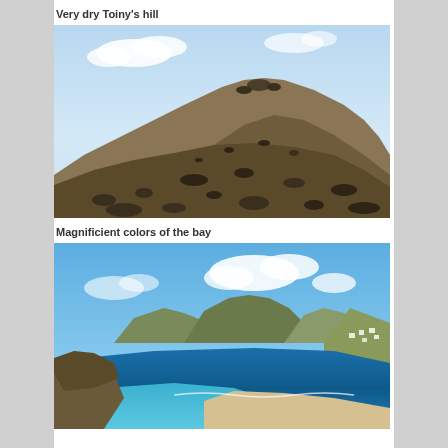Very dry Toiny's hill
[Figure (photo): A very dry rocky hillside under a blue sky with scattered clouds. The hill is covered entirely in dark volcanic rocks and boulders with barely any vegetation visible, forming a steep pyramid-like shape.]
Magnificient colors of the bay
[Figure (photo): Aerial or elevated view of a bay with brilliant turquoise and deep blue water, a sandy beach, and green hills/mountains in the background under a bright blue sky with white clouds. Some white buildings are visible on the hillside to the right.]